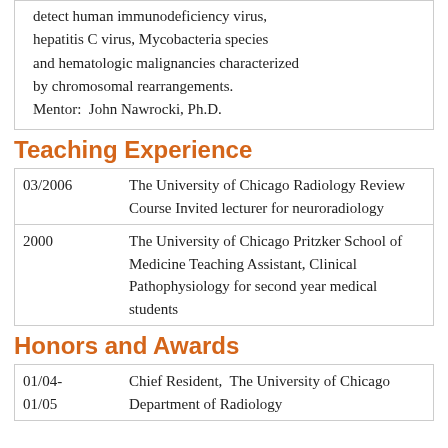detect human immunodeficiency virus, hepatitis C virus, Mycobacteria species and hematologic malignancies characterized by chromosomal rearrangements. Mentor:  John Nawrocki, Ph.D.
Teaching Experience
| Date | Description |
| --- | --- |
| 03/2006 | The University of Chicago Radiology Review Course Invited lecturer for neuroradiology |
| 2000 | The University of Chicago Pritzker School of Medicine Teaching Assistant, Clinical Pathophysiology for second year medical students |
Honors and Awards
| Date | Description |
| --- | --- |
| 01/04-
01/05 | Chief Resident,  The University of Chicago Department of Radiology |